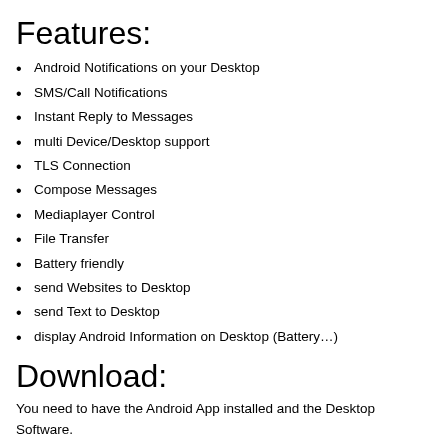Features:
Android Notifications on your Desktop
SMS/Call Notifications
Instant Reply to Messages
multi Device/Desktop support
TLS Connection
Compose Messages
Mediaplayer Control
File Transfer
Battery friendly
send Websites to Desktop
send Text to Desktop
display Android Information on Desktop (Battery…)
Download:
You need to have the Android App installed and the Desktop Software.
Desktop (Server):
Linux (Ubuntu 12.04+)
DeskCon Server Deb Package downlo…
Gnome Shell Extension Deb Package…